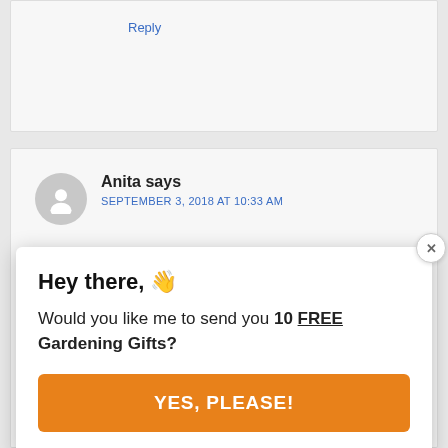Reply
Anita says
SEPTEMBER 3, 2018 AT 10:33 AM
[Figure (infographic): Popup modal with waving hand emoji, text 'Hey there, Would you like me to send you 10 FREE Gardening Gifts?' and an orange button labeled 'YES, PLEASE!']
SEPTEMBER 4, 2018 AT 8:33 AM